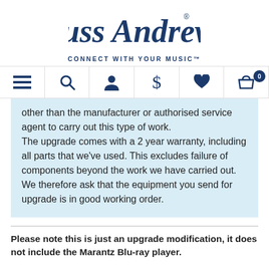[Figure (logo): Russ Andrews script logo with 'CONNECT WITH YOUR MUSIC' tagline]
[Figure (screenshot): Navigation bar with menu, search, user, dollar, heart, and cart icons. Cart shows badge with 0.]
other than the manufacturer or authorised service agent to carry out this type of work.

The upgrade comes with a 2 year warranty, including all parts that we've used. This excludes failure of components beyond the work we have carried out. We therefore ask that the equipment you send for upgrade is in good working order.
Please note this is just an upgrade modification, it does not include the Marantz Blu-ray player.